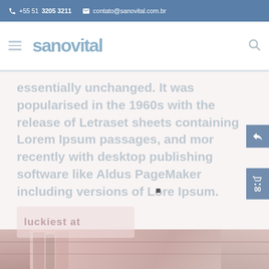📞 +55 51 3205 3211  ✉ contato@sanovital.com.br
[Figure (logo): Sanovital logo with hamburger menu icon and search icon in navigation bar]
essentially unchanged. It was popularised in the 1960s with the release of Letraset sheets containing Lorem Ipsum passages, and more recently with desktop publishing software like Aldus PageMaker including versions of Lorem Ipsum.
[Figure (photo): Background photo showing book shelves in warm reddish tones, partially obscured by overlaid text and UI elements]